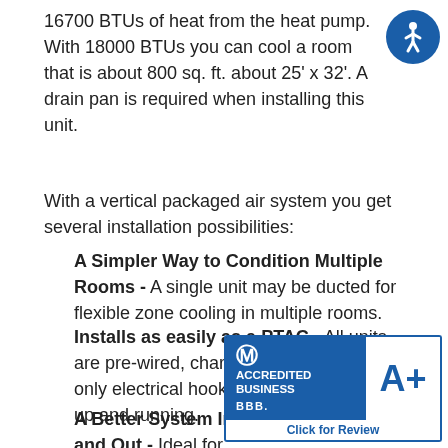16700 BTUs of heat from the heat pump. With 18000 BTUs you can cool a room that is about 800 sq. ft. about 25' x 32'. A drain pan is required when installing this unit.
With a vertical packaged air system you get several installation possibilities:
A Simpler Way to Condition Multiple Rooms - A single unit may be ducted for flexible zone cooling in multiple rooms.
Installs as easily as a PTAC - All units are pre-wired, charged and piped, so only electrical hook up is needed to be up and running.
A Better System Inside and Out - Ideal for extended stay properties, suites, assisted living facilities and student housing. A Friedrich vertical system is also compatible with wired and wire management systems.
[Figure (logo): BBB Accredited Business badge with A+ rating and Click for Review text. Also an accessibility icon (blue circle with wheelchair symbol).]